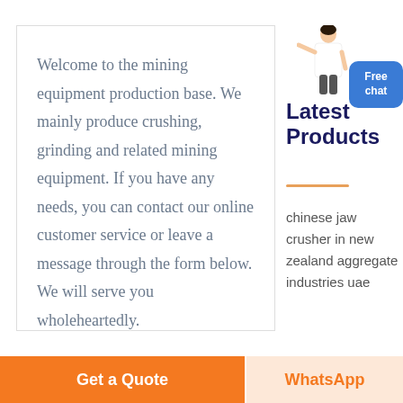Welcome to the mining equipment production base. We mainly produce crushing, grinding and related mining equipment. If you have any needs, you can contact our online customer service or leave a message through the form below. We will serve you wholeheartedly.
[Figure (illustration): Person (woman) illustration pointing, next to a blue 'Free chat' button]
Latest Products
chinese jaw crusher in new zealand aggregate industries uae
Get a Quote
WhatsApp